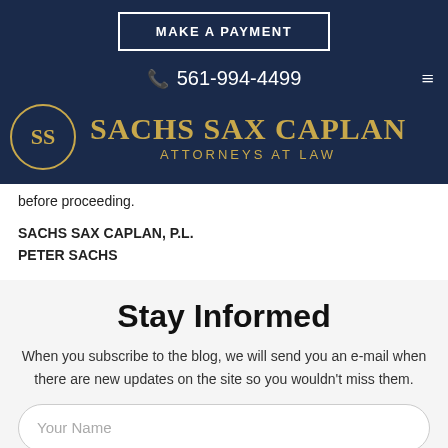[Figure (logo): Sachs Sax Caplan law firm header with Make a Payment button, phone number 561-994-4499, hamburger menu, circular SS logo, and firm name in gold text on dark navy background]
before proceeding.
SACHS SAX CAPLAN, P.L.
PETER SACHS
Stay Informed
When you subscribe to the blog, we will send you an e-mail when there are new updates on the site so you wouldn't miss them.
Your Name